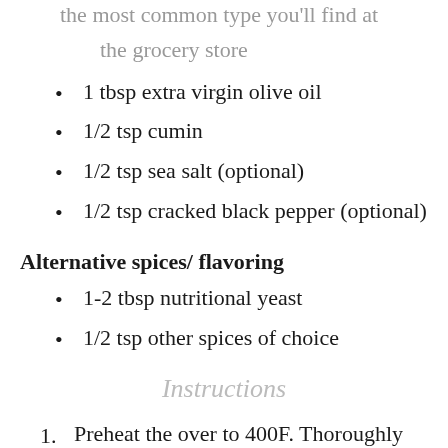the most common type you'll find at the grocery store
1 tbsp extra virgin olive oil
1/2 tsp cumin
1/2 tsp sea salt (optional)
1/2 tsp cracked black pepper (optional)
Alternative spices/ flavoring
1-2 tbsp nutritional yeast
1/2 tsp other spices of choice
Instructions
Preheat the over to 400F. Thoroughly wash and dry the kale then tear the